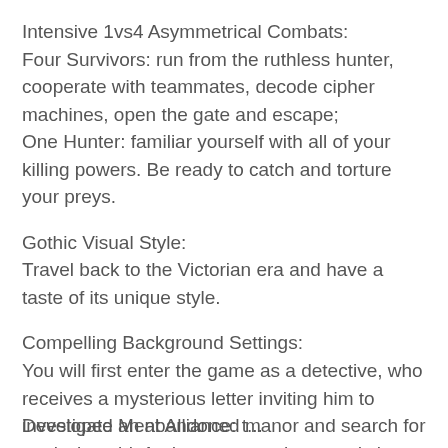Intensive 1vs4 Asymmetrical Combats:
Four Survivors: run from the ruthless hunter, cooperate with teammates, decode cipher machines, open the gate and escape;
One Hunter: familiar yourself with all of your killing powers. Be ready to catch and torture your preys.
Gothic Visual Style:
Travel back to the Victorian era and have a taste of its unique style.
Compelling Background Settings:
You will first enter the game as a detective, who receives a mysterious letter inviting him to investigate an abandoned manor and search for a missing girl. And as you get closer and closer to the truth, you find something horrifying…
Developed Ment Alliance: